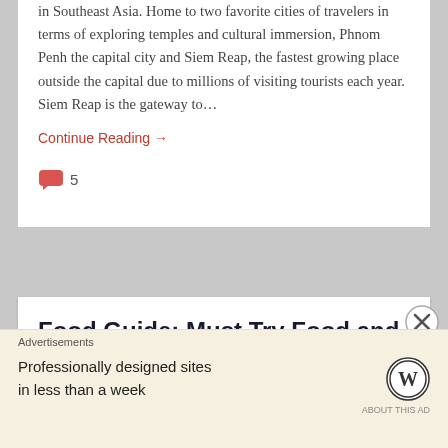in Southeast Asia. Home to two favorite cities of travelers in terms of exploring temples and cultural immersion, Phnom Penh the capital city and Siem Reap, the fastest growing place outside the capital due to millions of visiting tourists each year.  Siem Reap is the gateway to…
Continue Reading →
5
Food Guide: Must Try Food and Best Restaurants in Hong Kong
Advertisements
Professionally designed sites in less than a week